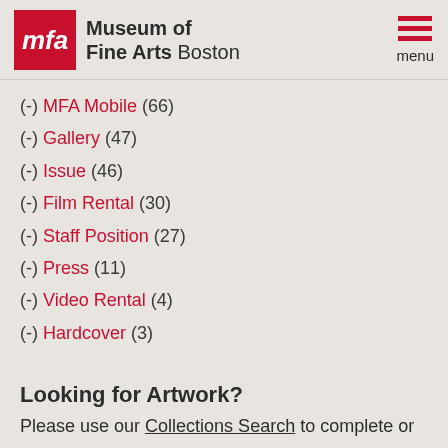Museum of Fine Arts Boston
(-) MFA Mobile (66)
(-) Gallery (47)
(-) Issue (46)
(-) Film Rental (30)
(-) Staff Position (27)
(-) Press (11)
(-) Video Rental (4)
(-) Hardcover (3)
Looking for Artwork?
Please use our Collections Search to complete or